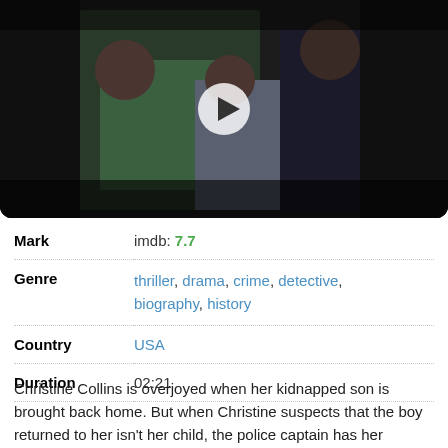[Figure (photo): Movie still showing three people: a woman in green dress, a young boy in suit with bow tie, and an older woman in dark clothing, standing together. A video play button is overlaid in the center.]
| Mark | imdb: 7.7 |
| Genre | thriller, drama, crime, detective, biography, history |
| Country | USA |
| Duration | 02:21 |
Christine Collins is overjoyed when her kidnapped son is brought back home. But when Christine suspects that the boy returned to her isn't her child, the police captain has her committed to an asylum.